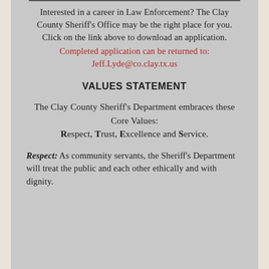Interested in a career in Law Enforcement? The Clay County Sheriff's Office may be the right place for you. Click on the link above to download an application.
Completed application can be returned to: Jeff.Lyde@co.clay.tx.us
VALUES STATEMENT
The Clay County Sheriff's Department embraces these Core Values: Respect, Trust, Excellence and Service.
Respect: As community servants, the Sheriff's Department will treat the public and each other ethically and with dignity.